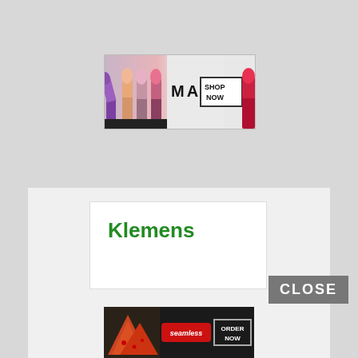[Figure (photo): MAC Cosmetics advertisement banner showing colorful lipsticks (purple, pink, coral) on left side, MAC logo in center, and 'SHOP NOW' button in a box on right, with a red lipstick on far right.]
Klemens
[Figure (photo): CLOSE button overlay in grey/dark background]
[Figure (photo): Seamless food delivery advertisement banner showing pizza slices on left, Seamless logo in red pill shape center, and 'ORDER NOW' button in box on right, dark background.]